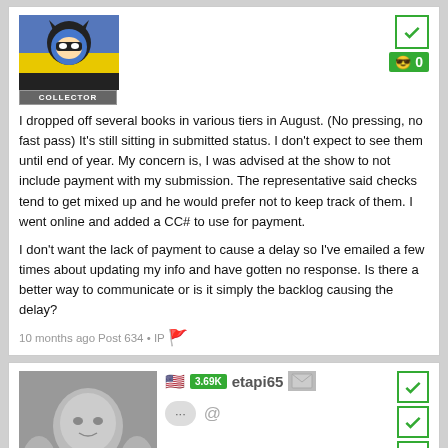[Figure (photo): Avatar image of Batman character with blue and yellow costume]
COLLECTOR
I dropped off several books in various tiers in August. (No pressing, no fast pass) It's still sitting in submitted status. I don't expect to see them until end of year. My concern is, I was advised at the show to not include payment with my submission. The representative said checks tend to get mixed up and he would prefer not to keep track of them. I went online and added a CC# to use for payment.

I don't want the lack of payment to cause a delay so I've emailed a few times about updating my info and have gotten no response. Is there a better way to communicate or is it simply the backlog causing the delay?
10 months ago Post 634 • IP
[Figure (photo): Black and white photo of a woman in fairy/fantasy costume]
COLLECTOR
🇺🇸 3.69K etapi65